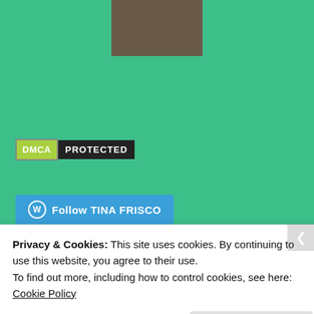[Figure (photo): Partial portrait photo of a person with dark hair, visible from shoulders up, on teal/green background]
[Figure (logo): DMCA Protected badge: green box with white text 'DMCA' and black box with white text 'PROTECTED']
[Figure (other): WordPress Follow button: blue rounded button with WordPress circle icon and text 'Follow TINA FRISCO']
Enter your email address to follow this blog and receive notifications of new posts by email.
Enter your email address
Privacy & Cookies: This site uses cookies. By continuing to use this website, you agree to their use.
To find out more, including how to control cookies, see here: Cookie Policy
Close and accept